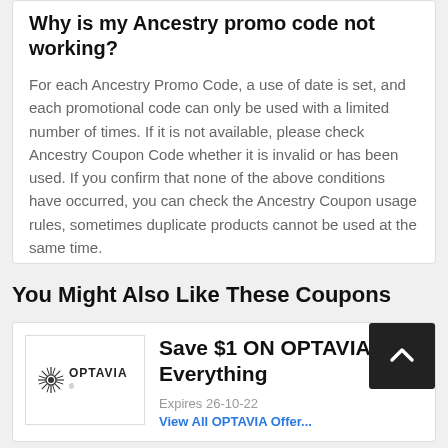Why is my Ancestry promo code not working?
For each Ancestry Promo Code, a use of date is set, and each promotional code can only be used with a limited number of times. If it is not available, please check Ancestry Coupon Code whether it is invalid or has been used. If you confirm that none of the above conditions have occurred, you can check the Ancestry Coupon usage rules, sometimes duplicate products cannot be used at the same time.
You Might Also Like These Coupons
[Figure (logo): OPTAVIA logo with starburst icon]
Save $1 ON OPTAVIA Everything
Expires 26-10-22
View All OPTAVIA Offers